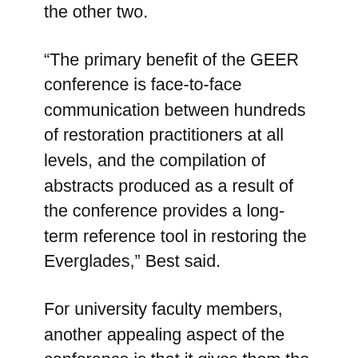the other two.
“The primary benefit of the GEER conference is face-to-face communication between hundreds of restoration practitioners at all levels, and the compilation of abstracts produced as a result of the conference provides a long-term reference tool in restoring the Everglades,” Best said.
For university faculty members, another appealing aspect of the conference is that it gives them the opportunity to learn about the full scope of restoration research, said Frank Mazzotti, an associate professor at the UF/IFAS Fort Lauderdale Research and Education Center and a member of the conference program committee.